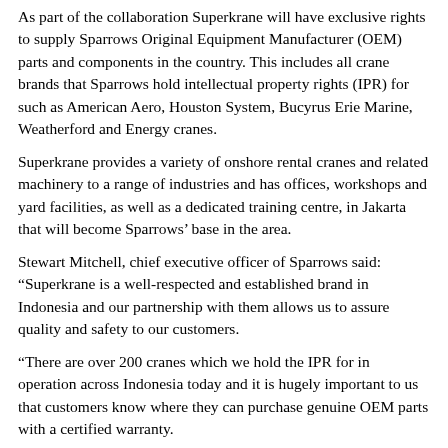As part of the collaboration Superkrane will have exclusive rights to supply Sparrows Original Equipment Manufacturer (OEM) parts and components in the country. This includes all crane brands that Sparrows hold intellectual property rights (IPR) for such as American Aero, Houston System, Bucyrus Erie Marine, Weatherford and Energy cranes.
Superkrane provides a variety of onshore rental cranes and related machinery to a range of industries and has offices, workshops and yard facilities, as well as a dedicated training centre, in Jakarta that will become Sparrows' base in the area.
Stewart Mitchell, chief executive officer of Sparrows said: “Superkrane is a well-respected and established brand in Indonesia and our partnership with them allows us to assure quality and safety to our customers.
“There are over 200 cranes which we hold the IPR for in operation across Indonesia today and it is hugely important to us that customers know where they can purchase genuine OEM parts with a certified warranty.
“We have worked in Indonesia for a number of years but Superkrane’s impressive facility and local knowledge will support us in is expanding our service offering further, including the delivery of crane operator training.”